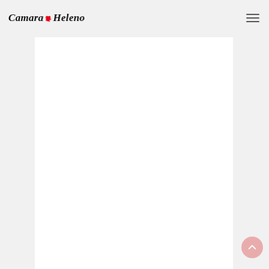Camara Heleno
[Figure (other): White content card area, likely containing an image (blank/white rectangle placeholder in the article)]
Materials You'll Need:
a glass canning jar or a similar